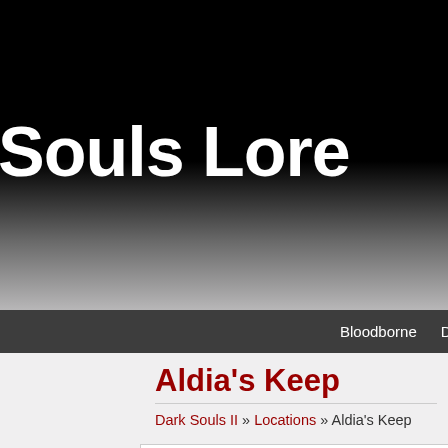Souls Lore
Bloodborne   Demon's Souls   Dark Sou...
Aldia's Keep
Dark Souls II » Locations » Aldia's Keep
[Figure (screenshot): Dark atmospheric screenshot of Aldia's Keep interior, showing a dimly lit corridor with warm glowing lights and dark angular architectural forms in a fantasy game setting.]